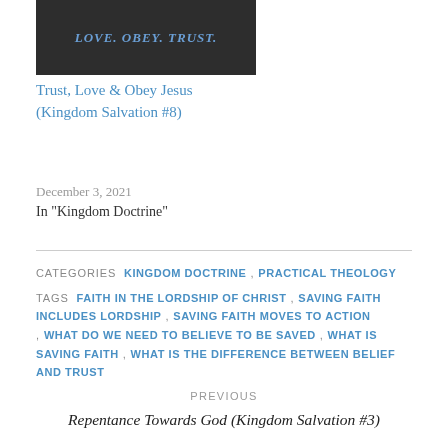[Figure (photo): Dark banner image with text 'Love. Obey. Trust.' in styled lettering on a dark background]
Trust, Love & Obey Jesus (Kingdom Salvation #8)
December 3, 2021
In "Kingdom Doctrine"
CATEGORIES  KINGDOM DOCTRINE ,  PRACTICAL THEOLOGY
TAGS  FAITH IN THE LORDSHIP OF CHRIST ,  SAVING FAITH INCLUDES LORDSHIP ,  SAVING FAITH MOVES TO ACTION ,  WHAT DO WE NEED TO BELIEVE TO BE SAVED ,  WHAT IS SAVING FAITH ,  WHAT IS THE DIFFERENCE BETWEEN BELIEF AND TRUST
PREVIOUS
Repentance Towards God (Kingdom Salvation #3)